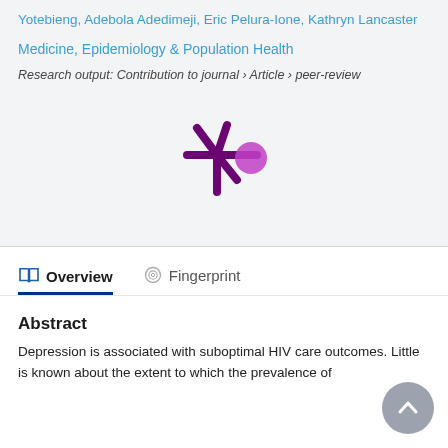Yotebieng, Adebola Adedimeji, Eric Pelura-Ione, Kathryn Lancaster
Medicine, Epidemiology & Population Health
Research output: Contribution to journal › Article › peer-review
[Figure (logo): Altmetric-style snowflake/asterisk logo with purple asterisk and magenta circle]
Overview
Fingerprint
Abstract
Depression is associated with suboptimal HIV care outcomes. Little is known about the extent to which the prevalence of